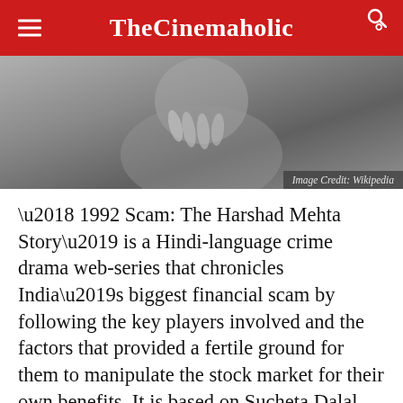TheCinemaholic
[Figure (photo): Black and white close-up photo of a person, partially visible, grayscale tones. Image Credit: Wikipedia]
Image Credit: Wikipedia
‘1992 Scam: The Harshad Mehta Story’ is a Hindi-language crime drama web-series that chronicles India’s biggest financial scam by following the key players involved and the factors that provided a fertile ground for them to manipulate the stock market for their own benefits. It is based on Sucheta Dalal and Debashish Basu’s book, entitled ‘The Scam: Who Won, Who Lost, Who Got Away.’